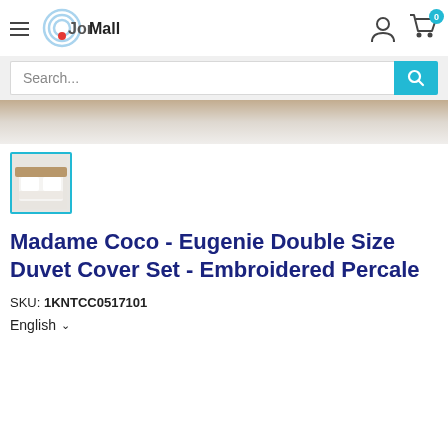[Figure (logo): JorMall logo with hamburger menu icon, circular wave logo graphic, and account/cart icons]
Search...
[Figure (photo): Partial product image strip showing white bedding/duvet on a bed]
[Figure (photo): Thumbnail image of white embroidered duvet cover set with cyan/teal border]
Madame Coco - Eugenie Double Size Duvet Cover Set - Embroidered Percale
SKU: 1KNTCC0517101
English ∨